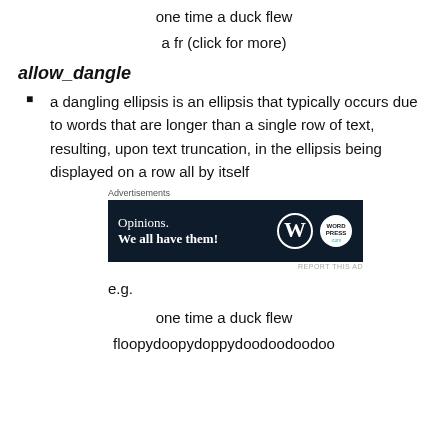one time a duck flew
a fr (click for more)
allow_dangle
a dangling ellipsis is an ellipsis that typically occurs due to words that are longer than a single row of text, resulting, upon text truncation, in the ellipsis being displayed on a row all by itself
[Figure (screenshot): Advertisement banner: dark navy background with 'Opinions. We all have them!' text and WordPress logo icons]
e.g.
one time a duck flew
floopydoopydoppydoodoodoodoo